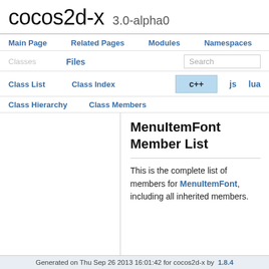cocos2d-x 3.0-alpha0
Main Page | Related Pages | Modules | Namespaces
Classes | Files | Search | c++ | js | lua
Class List | Class Index | Class Hierarchy | Class Members
MenuItemFont Member List
This is the complete list of members for MenuItemFont, including all inherited members.
Generated on Thu Sep 26 2013 16:01:42 for cocos2d-x by  1.8.4